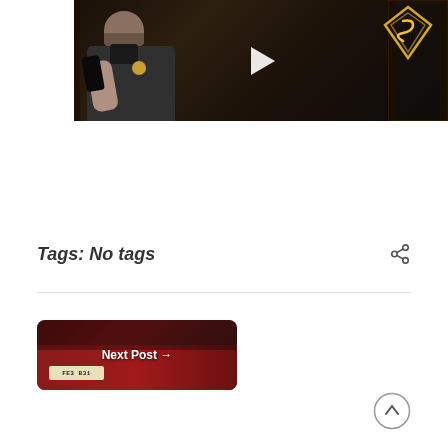[Figure (screenshot): Video thumbnail showing a person in a dark puffy jacket holding a phone, with a neon Superman-style logo in the background and a play button overlay]
Tags: No tags
[Figure (photo): Next Post thumbnail showing the front of a dark red/maroon car with a license plate, with 'Next Post →' text overlay]
[Figure (other): Scroll to top button — circular arrow pointing up]